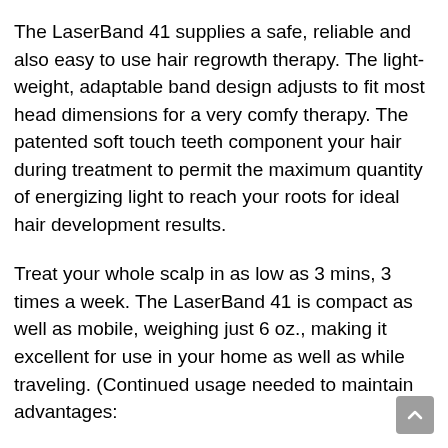The LaserBand 41 supplies a safe, reliable and also easy to use hair regrowth therapy. The light-weight, adaptable band design adjusts to fit most head dimensions for a very comfy therapy. The patented soft touch teeth component your hair during treatment to permit the maximum quantity of energizing light to reach your roots for ideal hair development results.
Treat your whole scalp in as low as 3 mins, 3 times a week. The LaserBand 41 is compact as well as mobile, weighing just 6 oz., making it excellent for use in your home as well as while traveling. (Continued usage needed to maintain advantages:
– Clinically Proven Technology.